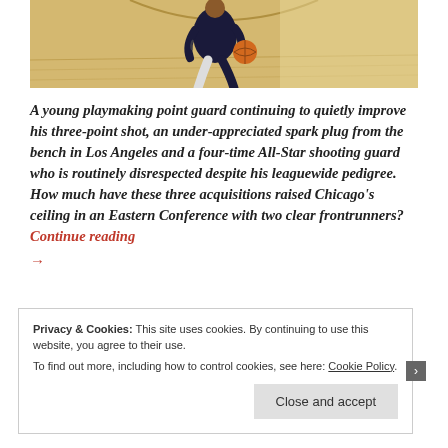[Figure (photo): A basketball player in a dark jersey dribbling a basketball on a hardwood court]
A young playmaking point guard continuing to quietly improve his three-point shot, an under-appreciated spark plug from the bench in Los Angeles and a four-time All-Star shooting guard who is routinely disrespected despite his leaguewide pedigree. How much have these three acquisitions raised Chicago's ceiling in an Eastern Conference with two clear frontrunners? Continue reading →
Privacy & Cookies: This site uses cookies. By continuing to use this website, you agree to their use.
To find out more, including how to control cookies, see here: Cookie Policy